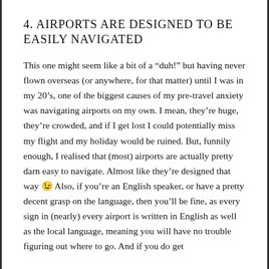4. Airports are designed to be easily navigated
This one might seem like a bit of a “duh!” but having never flown overseas (or anywhere, for that matter) until I was in my 20’s, one of the biggest causes of my pre-travel anxiety was navigating airports on my own. I mean, they’re huge, they’re crowded, and if I get lost I could potentially miss my flight and my holiday would be ruined. But, funnily enough, I realised that (most) airports are actually pretty darn easy to navigate. Almost like they’re designed that way 😉 Also, if you’re an English speaker, or have a pretty decent grasp on the language, then you’ll be fine, as every sign in (nearly) every airport is written in English as well as the local language, meaning you will have no trouble figuring out where to go. And if you do get